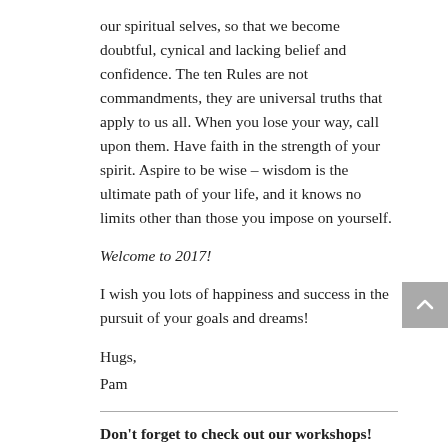our spiritual selves, so that we become doubtful, cynical and lacking belief and confidence. The ten Rules are not commandments, they are universal truths that apply to us all. When you lose your way, call upon them. Have faith in the strength of your spirit. Aspire to be wise – wisdom is the ultimate path of your life, and it knows no limits other than those you impose on yourself.
Welcome to 2017!
I wish you lots of happiness and success in the pursuit of your goals and dreams!
Hugs,
Pam
Don't forget to check out our workshops!  The most important work you can do is the "Work Before The Work" – before you write your resume or set up